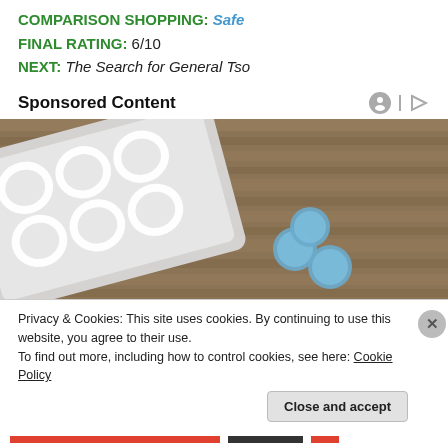COMPARISON SHOPPING: Safe
FINAL RATING: 6/10
NEXT: The Search for General Tso
Sponsored Content
[Figure (photo): A blister pack of white pills and three loose blue round tablets on a wooden surface]
Privacy & Cookies: This site uses cookies. By continuing to use this website, you agree to their use.
To find out more, including how to control cookies, see here: Cookie Policy